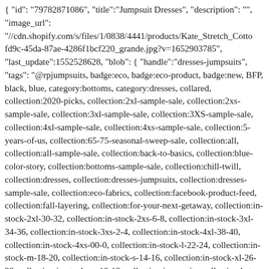{ "id": "79782871086", "title":"Jumpsuit Dresses", "description": "", "image_url": "//cdn.shopify.com/s/files/1/0838/4441/products/Kate_Stretch_Cotto fd9c-45da-87ae-4286f1bcf220_grande.jpg?v=1652903785", "last_update":1552528628, "blob": { "handle":"dresses-jumpsuits", "tags": "@rpjumpsuits, badge:eco, badge:eco-product, badge:new, BFP, black, blue, category:bottoms, category:dresses, collared, collection:2020-picks, collection:2xl-sample-sale, collection:2xs-sample-sale, collection:3xl-sample-sale, collection:3XS-sample-sale, collection:4xl-sample-sale, collection:4xs-sample-sale, collection:5-years-of-us, collection:65-75-seasonal-sweep-sale, collection:all, collection:all-sample-sale, collection:back-to-basics, collection:blue-color-story, collection:bottoms-sample-sale, collection:chill-twill, collection:dresses, collection:dresses-jumpsuits, collection:dresses-sample-sale, collection:eco-fabrics, collection:facebook-product-feed, collection:fall-layering, collection:for-your-next-getaway, collection:in-stock-2xl-30-32, collection:in-stock-2xs-6-8, collection:in-stock-3xl-34-36, collection:in-stock-3xs-2-4, collection:in-stock-4xl-38-40, collection:in-stock-4xs-00-0, collection:in-stock-l-22-24, collection:in-stock-m-18-20, collection:in-stock-s-14-16, collection:in-stock-xl-26-28, collection:in-stock-xs-10-12, collection:jumpsuits, collection:kate-twill-jumpsuit, collection:l-sample-sale, collection:leisure-mom, collection:m-sample-sale, collection:may-potm-kate-twill-jumpsuit, collection:memorial-day